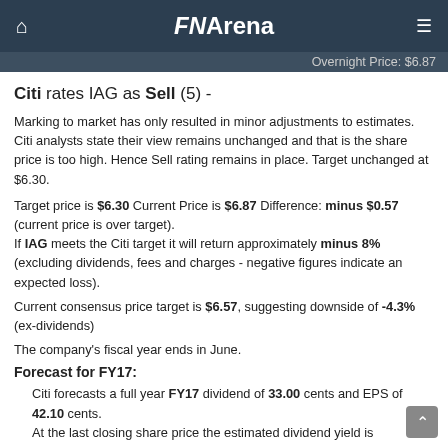FNArena
Overnight Price: $6.87
Citi rates IAG as Sell (5) -
Marking to market has only resulted in minor adjustments to estimates. Citi analysts state their view remains unchanged and that is the share price is too high. Hence Sell rating remains in place. Target unchanged at $6.30.
Target price is $6.30 Current Price is $6.87 Difference: minus $0.57 (current price is over target).
If IAG meets the Citi target it will return approximately minus 8% (excluding dividends, fees and charges - negative figures indicate an expected loss).
Current consensus price target is $6.57, suggesting downside of -4.3% (ex-dividends)
The company's fiscal year ends in June.
Forecast for FY17:
Citi forecasts a full year FY17 dividend of 33.00 cents and EPS of 42.10 cents.
At the last closing share price the estimated dividend yield is